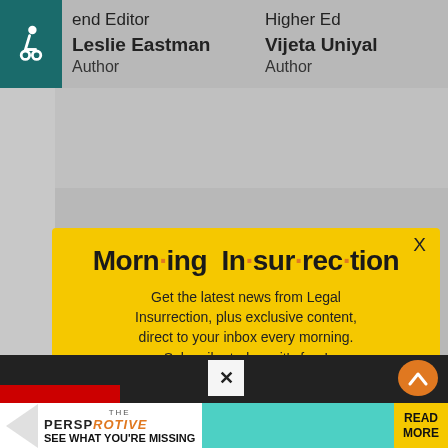end Editor   Higher Ed
Leslie Eastman   Author
Vijeta Uniyal   Author
[Figure (screenshot): Modal popup newsletter subscription box with yellow background. Title: 'Morn·ing In·sur·rec·tion'. Body: 'Get the latest news from Legal Insurrection, plus exclusive content, direct to your inbox every morning. Subscribe today – it's free!' with orange JOIN NOW button. Close X button top right. Below the modal is a dark bar with a close X button and a partial ad banner showing 'THE PERSPECTIVE SEE WHAT YOU'RE MISSING READ MORE'.]